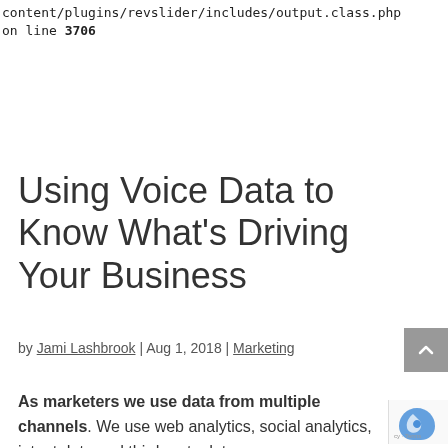content/plugins/revslider/includes/output.class.php on line 3706
Using Voice Data to Know What’s Driving Your Business
by Jami Lashbrook | Aug 1, 2018 | Marketing
As marketers we use data from multiple channels. We use web analytics, social analytics, intent data and third party data,